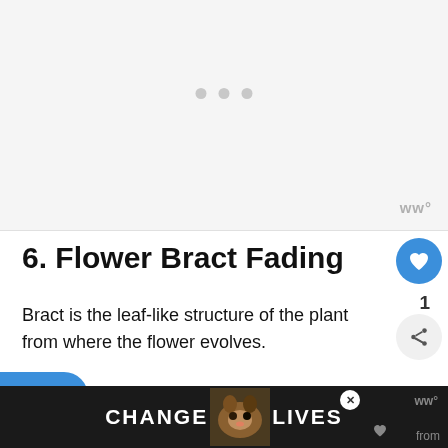[Figure (other): Light gray placeholder ad box with three gray dots centered near top and a watermark 'ww°' in lower right corner]
6. Flower Bract Fading
Bract is the leaf-like structure of the plant from where the flower evolves.
The blooming Zebra plant produces a
[Figure (other): Bottom advertisement banner with text CHANGE LIVES with cat image on dark background]
de... from